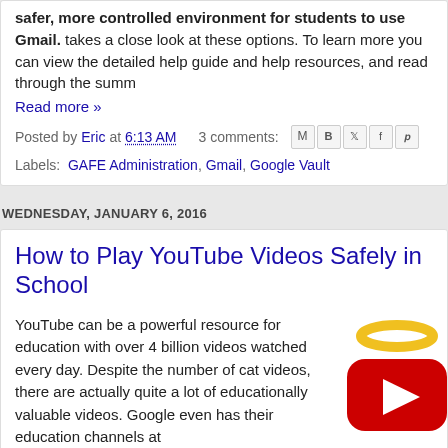safer, more controlled environment for students to use Gmail. takes a close look at these options. To learn more you can view the detailed help guide and help resources, and read through the summ
Read more »
Posted by Eric at 6:13 AM   3 comments:
Labels: GAFE Administration, Gmail, Google Vault
WEDNESDAY, JANUARY 6, 2016
How to Play YouTube Videos Safely in School
YouTube can be a powerful resource for education with over 4 billion videos watched every day. Despite the number of cat videos, there are actually quite a lot of educationally valuable videos. Google even has their education channels at https://www.youtube.com/edu where they have currated videos by grade level and subject area.
[Figure (illustration): YouTube logo with a golden halo above it, styled as an angel, with text 'ControlAltAchieve.c' below]